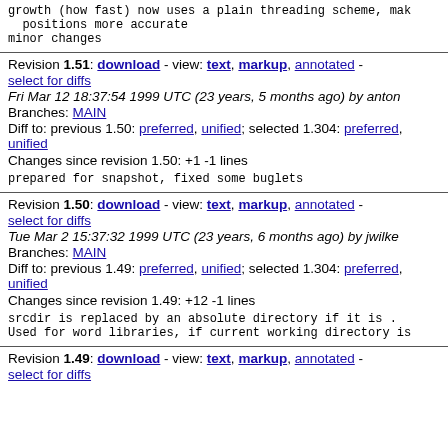growth (how fast) now uses a plain threading scheme, mak positions more accurate
minor changes
Revision 1.51: download - view: text, markup, annotated - select for diffs
Fri Mar 12 18:37:54 1999 UTC (23 years, 5 months ago) by anton
Branches: MAIN
Diff to: previous 1.50: preferred, unified; selected 1.304: preferred, unified
Changes since revision 1.50: +1 -1 lines
prepared for snapshot, fixed some buglets
Revision 1.50: download - view: text, markup, annotated - select for diffs
Tue Mar 2 15:37:32 1999 UTC (23 years, 6 months ago) by jwilke
Branches: MAIN
Diff to: previous 1.49: preferred, unified; selected 1.304: preferred, unified
Changes since revision 1.49: +12 -1 lines
srcdir is replaced by an absolute directory if it is .
Used for word libraries, if current working directory is
Revision 1.49: download - view: text, markup, annotated -
select for diffs